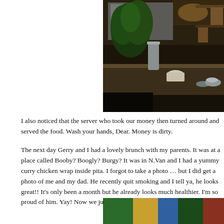[Figure (photo): Interior of a restaurant or cafe counter area with plants, stainless steel containers, wooden shelving, and various kitchen items. Dark, warm lighting.]
I also noticed that the server who took our money then turned around and served the food. Wash your hands, Dear. Money is dirty.
The next day Gerry and I had a lovely brunch with my parents. It was at a place called Booby? Boogly? Burgy? It was in N.Van and I had a yummy curry chicken wrap inside pita. I forgot to take a photo … but I did get a photo of me and my dad. He recently quit smoking and I tell ya, he looks great!! It's only been a month but he already looks much healthier. I'm so proud of him. Yay! Now we just have to
[Figure (photo): Bottom portion of a photo, showing colorful items — appears to be a partially visible image at the bottom of the page.]